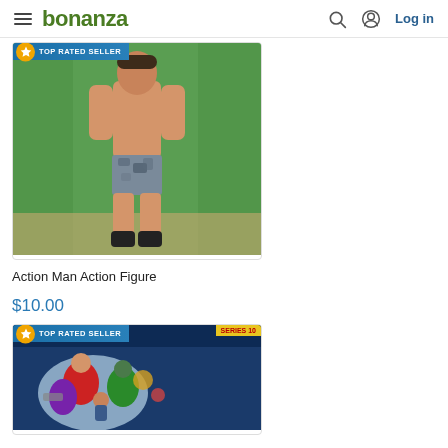bonanza — Log in
[Figure (photo): Action Man action figure toy, shirtless with camouflage shorts and black boots, standing against a green background. Has a 'TOP RATED SELLER' badge in the top-left corner.]
Action Man Action Figure
$10.00
[Figure (photo): Packaged toy set labeled 'Series 10', with various colorful action figures and accessories in blister packaging. Has a 'TOP RATED SELLER' badge in the top-left corner.]